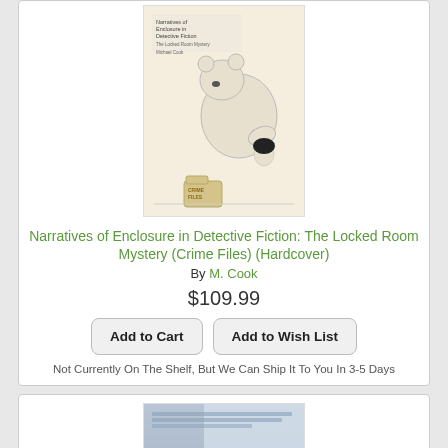[Figure (photo): Book cover of 'Narratives of Enclosure in Detective Fiction: The Locked Room Mystery (Crime Files)' by Michael Cook. Shows a cartoon illustration of a large figure crouching over a smaller figure, with a 'Crime Files' folder on the floor. Beige/off-white background.]
Narratives of Enclosure in Detective Fiction: The Locked Room Mystery (Crime Files) (Hardcover)
By M. Cook
$109.99
Add to Cart
Add to Wish List
Not Currently On The Shelf, But We Can Ship It To You In 3-5 Days
[Figure (photo): Book cover of 'Death in a Cold Climate' by Barry Forshaw. Blue/grey tones with bold white title text.]